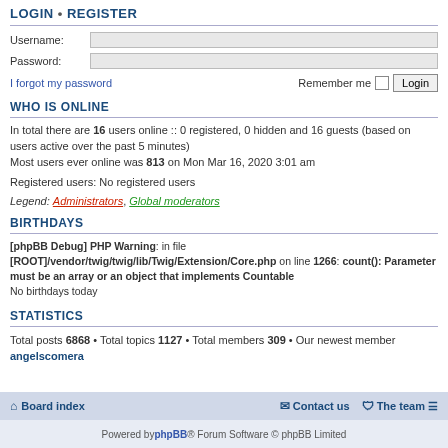LOGIN • REGISTER
Username:
Password:
I forgot my password   Remember me  Login
WHO IS ONLINE
In total there are 16 users online :: 0 registered, 0 hidden and 16 guests (based on users active over the past 5 minutes)
Most users ever online was 813 on Mon Mar 16, 2020 3:01 am
Registered users: No registered users
Legend: Administrators, Global moderators
BIRTHDAYS
[phpBB Debug] PHP Warning: in file [ROOT]/vendor/twig/twig/lib/Twig/Extension/Core.php on line 1266: count(): Parameter must be an array or an object that implements Countable
No birthdays today
STATISTICS
Total posts 6868 • Total topics 1127 • Total members 309 • Our newest member angelscomera
Board index   Contact us   The team
Powered by phpBB® Forum Software © phpBB Limited